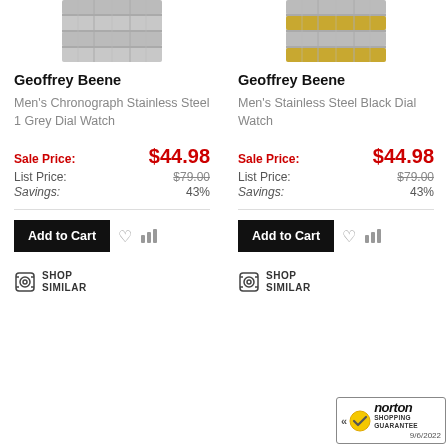[Figure (photo): Partial view of a silver stainless steel watch bracelet from above, cropped at top]
[Figure (photo): Partial view of a silver and gold stainless steel watch bracelet from above, cropped at top]
Geoffrey Beene
Geoffrey Beene
Men's Chronograph Stainless Steel 1 Grey Dial Watch
Men's Stainless Steel Black Dial Watch
Sale Price: $44.98
Sale Price: $44.98
List Price: $79.00
List Price: $79.00
Savings: 43%
Savings: 43%
Add to Cart
Add to Cart
SHOP SIMILAR
SHOP SIMILAR
[Figure (logo): Norton Shopping Guarantee badge with checkmark, dated 9/6/2022]